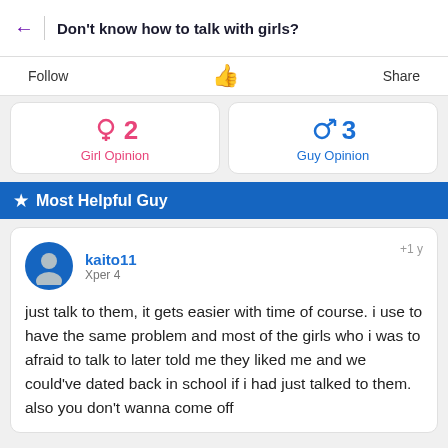Don't know how to talk with girls?
Follow    Share
♀ 2  Girl Opinion
♂ 3  Guy Opinion
★  Most Helpful Guy
kaito11
Xper 4
+1 y
just talk to them, it gets easier with time of course. i use to have the same problem and most of the girls who i was to afraid to talk to later told me they liked me and we could've dated back in school if i had just talked to them. also you don't wanna come off